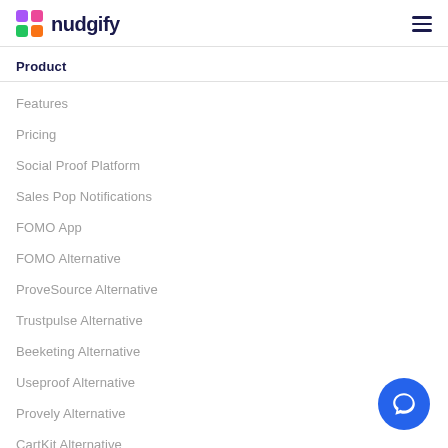nudgify
Product
Features
Pricing
Social Proof Platform
Sales Pop Notifications
FOMO App
FOMO Alternative
ProveSource Alternative
Trustpulse Alternative
Beeketing Alternative
Useproof Alternative
Provely Alternative
CartKit Alternative